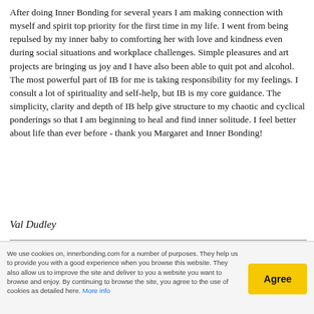After doing Inner Bonding for several years I am making connection with myself and spirit top priority for the first time in my life.  I went from being repulsed by my inner baby to comforting her with love and kindness even during social situations and workplace challenges.  Simple pleasures and art projects are bringing us joy and I have also been able to quit pot and alcohol.  The most powerful part of IB for me is taking responsibility for my feelings.  I consult a lot of spirituality and self-help, but IB is my core guidance.  The simplicity, clarity and depth of IB help give structure to my chaotic and cyclical ponderings so that I am beginning to heal and find inner solitude.  I feel better about life than ever before - thank you Margaret and Inner Bonding!
Val Dudley
We use cookies on, innerbonding.com for a number of purposes. They help us to provide you with a good experience when you browse this website. They also allow us to improve the site and deliver to you a website you want to browse and enjoy. By continuing to browse the site, you agree to the use of cookies as detailed here. More info